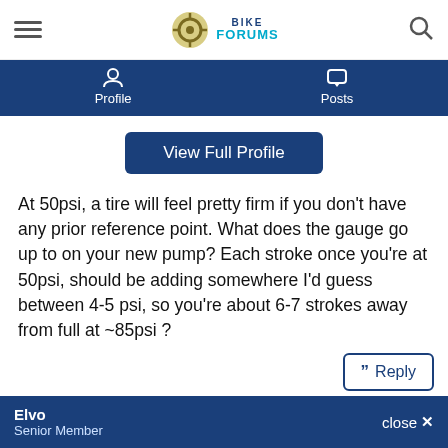Bike Forums
Profile   Posts
View Full Profile
At 50psi, a tire will feel pretty firm if you don't have any prior reference point. What does the gauge go up to on your new pump? Each stroke once you're at 50psi, should be adding somewhere I'd guess between 4-5 psi, so you're about 6-7 strokes away from full at ~85psi ?
Reply
#3
Elvo , 11-30-21 04:53 PM
Senior Member
Elvo
Senior Member
close ✕